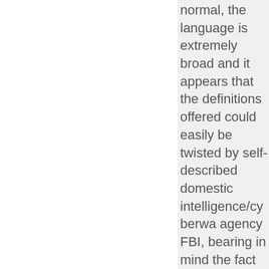normal, the language is extremely broad and it appears that the definitions offered could easily be twisted by self-described domestic intelligence/cyberwa agency FBI, bearing in mind the fact that all Tor users